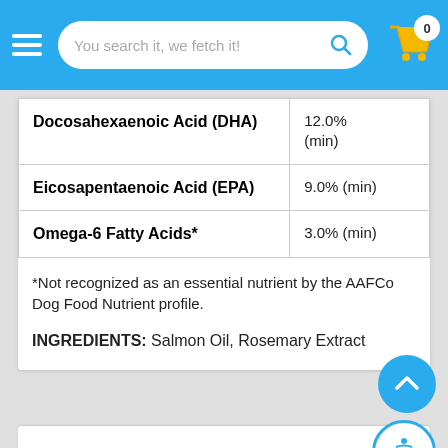You search it, we fetch it!
| Nutrient | Amount |
| --- | --- |
| Docosahexaenoic Acid (DHA) | 12.0% (min) |
| Eicosapentaenoic Acid (EPA) | 9.0% (min) |
| Omega-6 Fatty Acids* | 3.0% (min) |
*Not recognized as an essential nutrient by the AAFCo Dog Food Nutrient profile.
INGREDIENTS: Salmon Oil, Rosemary Extract